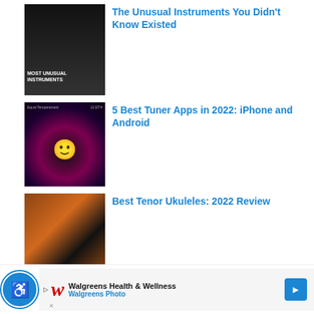The Unusual Instruments You Didn't Know Existed
[Figure (photo): Thumbnail image with woman in red dress playing unusual instruments, text overlay 'MOST UNUSUAL INSTRUMENTS']
5 Best Tuner Apps in 2022: iPhone and Android
[Figure (screenshot): Tuner app screenshot showing colorful radial display with smiley face and 'Equal Temperament' text]
Best Tenor Ukuleles: 2022 Review
[Figure (photo): Close-up photo of a tenor ukulele with wooden body and strings]
[Figure (infographic): Pagination buttons: left arrow and right arrow]
[Figure (infographic): Bottom advertisement bar: Walgreens Health & Wellness, Walgreens Photo, with accessibility icon and navigation arrow]